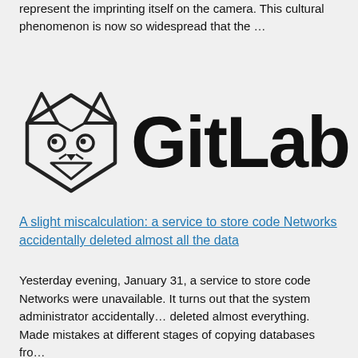represent the imprinting itself on the camera. This cultural phenomenon is now so widespread that the …
[Figure (logo): GitLab logo: fox head outline drawing on the left, bold 'GitLab' wordmark text on the right]
A slight miscalculation: a service to store code Networks accidentally deleted almost all the data
Yesterday evening, January 31, a service to store code Networks were unavailable. It turns out that the system administrator accidentally… deleted almost everything. Made mistakes at different stages of copying databases fro…